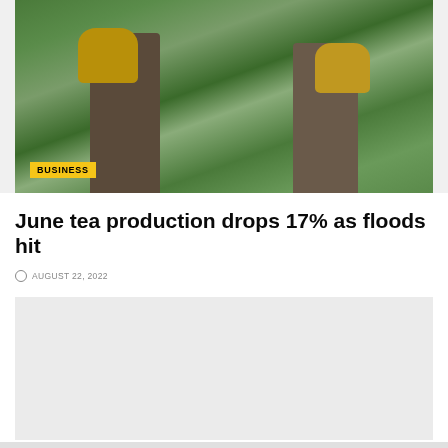[Figure (photo): Tea workers carrying large wicker baskets and cloth sacks through green tea plantation fields]
BUSINESS
June tea production drops 17% as floods hit
AUGUST 22, 2022
[Figure (other): Advertisement placeholder box (light gray)]